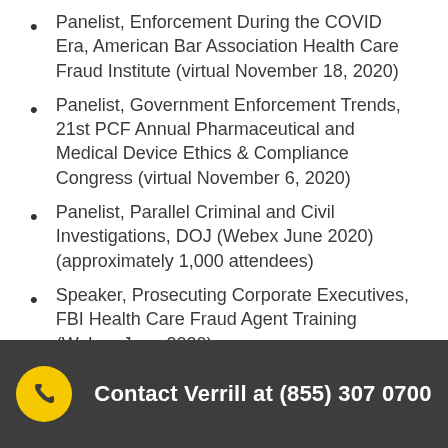Panelist, Enforcement During the COVID Era, American Bar Association Health Care Fraud Institute (virtual November 18, 2020)
Panelist, Government Enforcement Trends, 21st PCF Annual Pharmaceutical and Medical Device Ethics & Compliance Congress (virtual November 6, 2020)
Panelist, Parallel Criminal and Civil Investigations, DOJ (Webex June 2020) (approximately 1,000 attendees)
Speaker, Prosecuting Corporate Executives, FBI Health Care Fraud Agent Training (Webex June 2020)
Contact Verrill at (855) 307 0700